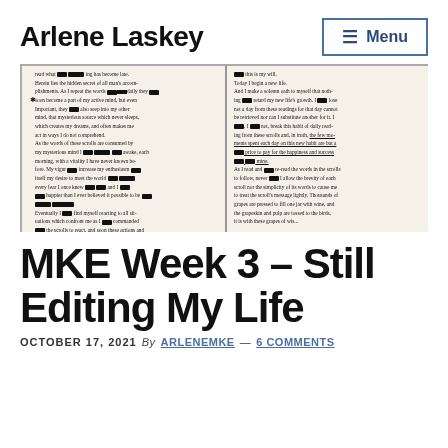Arlene Laskey
[Figure (photo): Open book with pages showing text in two columns; portions of text are redacted with black marker/ink, including some highlighted/underlined sections. The book appears to be an inspirational or self-help text.]
MKE Week 3 – Still Editing My Life
OCTOBER 17, 2021  By  ARLENEMKE  —  6 COMMENTS